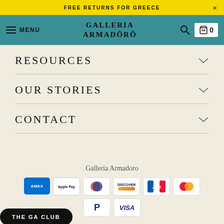FREE RETURNS FOR GREECE
[Figure (screenshot): Navigation bar with hamburger menu, GALLERIA ARMADŌRŌ logo, search icon, and cart icon showing 0]
RESOURCES
OUR STORIES
CONTACT
Galleria Armadoro
[Figure (infographic): Payment method icons: Amex, Apple Pay, Diners Club, Discover, JCB, Mastercard, PayPal, Visa]
THE GA CLUB